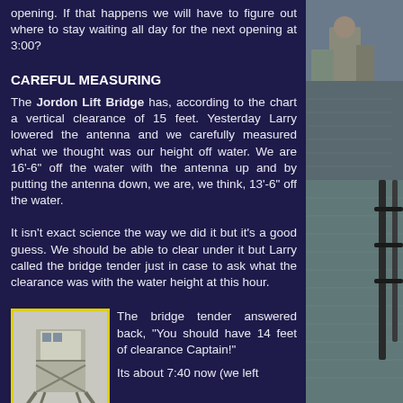opening.  If that happens we will have to figure out where to stay waiting all day for the next opening at 3:00?
CAREFUL MEASURING
The Jordon Lift Bridge has, according to the chart a vertical clearance of 15 feet. Yesterday Larry lowered the antenna and we carefully measured what we thought was our height off water.  We are 16'-6" off the water with the antenna up and by putting the antenna down, we are, we think, 13'-6" off the water.
It isn't exact science the way we did it but it's a good guess.  We should be able to clear under it but Larry called the bridge tender just in case to ask what the clearance was with the water height at this hour.
[Figure (photo): Small photo of a bridge tender structure, steel framework, against light background, yellow border]
The bridge tender answered back, "You should have 14 feet of clearance Captain!"
Its about 7:40 now (we left
[Figure (photo): Right column: top portion shows harbor/industrial scene with buildings and water. Bottom portion shows boat railing and water.]